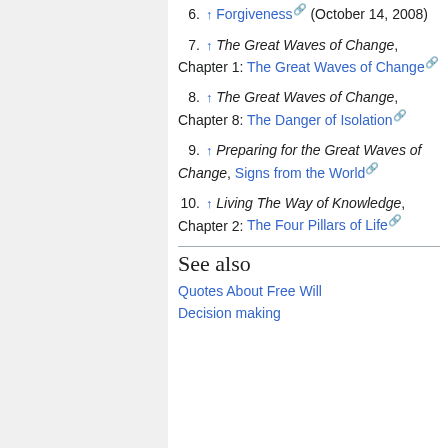6. ↑ Forgiveness (October 14, 2008)
7. ↑ The Great Waves of Change, Chapter 1: The Great Waves of Change
8. ↑ The Great Waves of Change, Chapter 8: The Danger of Isolation
9. ↑ Preparing for the Great Waves of Change, Signs from the World
10. ↑ Living The Way of Knowledge, Chapter 2: The Four Pillars of Life
See also
Quotes About Free Will
Decision making